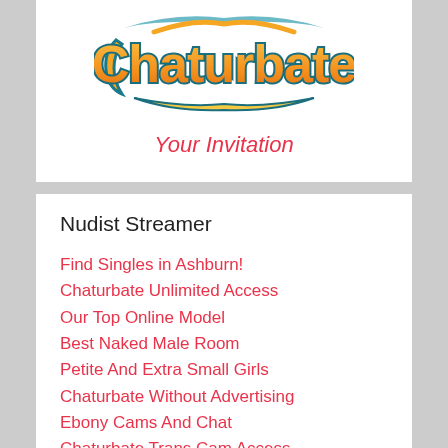[Figure (logo): Chaturbate logo — colorful graffiti-style orange and yellow lettering with teal outline and underline]
Your Invitation
Nudist Streamer
Find Singles in Ashburn!
Chaturbate Unlimited Access
Our Top Online Model
Best Naked Male Room
Petite And Extra Small Girls
Chaturbate Without Advertising
Ebony Cams And Chat
Chaturbate Trans Cam Access